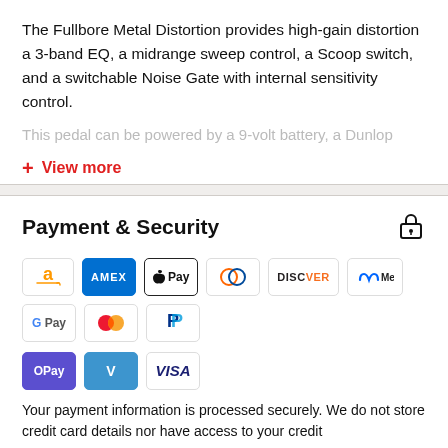The Fullbore Metal Distortion provides high-gain distortion a 3-band EQ, a midrange sweep control, a Scoop switch, and a switchable Noise Gate with internal sensitivity control.
This pedal can be powered by a 9-volt battery, a Dunlop
+ View more
Payment & Security
[Figure (infographic): Payment method icons: Amazon, Amex, Apple Pay, Diners, Discover, Meta Pay, Google Pay, Mastercard, PayPal, OPay, Venmo, Visa]
Your payment information is processed securely. We do not store credit card details nor have access to your credit